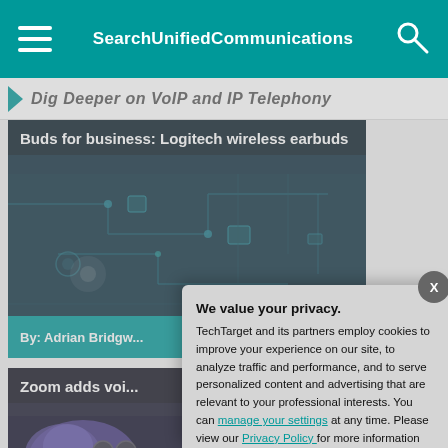SearchUnifiedCommunications
Dig Deeper on VoIP and IP Telephony
[Figure (screenshot): Article card with dark teal circuit board background image. Title: Buds for business: Logitech wireless earbuds. Author: By: Adrian Bridgw...]
By: Adrian Bridgw...
[Figure (screenshot): Article card with dark blue/purple background. Title: Zoom adds voi... Author: By: Mike Gleason...]
By: Mike Gleason...
Zoom delays h...
We value your privacy.
TechTarget and its partners employ cookies to improve your experience on our site, to analyze traffic and performance, and to serve personalized content and advertising that are relevant to your professional interests. You can manage your settings at any time. Please view our Privacy Policy for more information